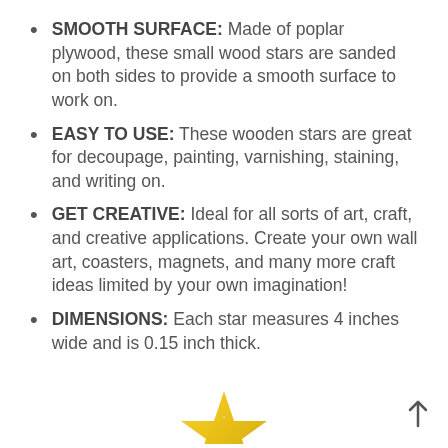SMOOTH SURFACE: Made of poplar plywood, these small wood stars are sanded on both sides to provide a smooth surface to work on.
EASY TO USE: These wooden stars are great for decoupage, painting, varnishing, staining, and writing on.
GET CREATIVE: Ideal for all sorts of art, craft, and creative applications. Create your own wall art, coasters, magnets, and many more craft ideas limited by your own imagination!
DIMENSIONS: Each star measures 4 inches wide and is 0.15 inch thick.
[Figure (illustration): Partial view of a gold/yellow glittery star shape visible at the bottom center of the page]